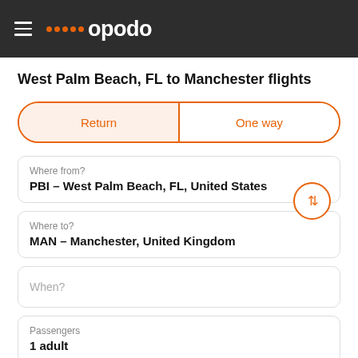opodo
West Palm Beach, FL to Manchester flights
Return | One way
Where from?
PBI – West Palm Beach, FL, United States
Where to?
MAN – Manchester, United Kingdom
When?
Passengers
1 adult